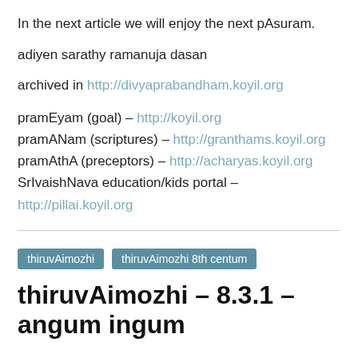In the next article we will enjoy the next pAsuram.
adiyen sarathy ramanuja dasan
archived in http://divyaprabandham.koyil.org
pramEyam (goal) – http://koyil.org
pramANam (scriptures) – http://granthams.koyil.org
pramAthA (preceptors) – http://acharyas.koyil.org
SrIvaishNava education/kids portal – http://pillai.koyil.org
thiruvAimozhi
thiruvAimozhi 8th centum
thiruvAimozhi – 8.3.1 – angum ingum